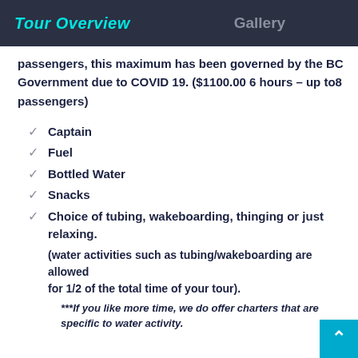Tour Overview   Gallery
passengers, this maximum has been governed by the BC Government due to COVID 19. ($1100.00 6 hours – up to8 passengers)
Captain
Fuel
Bottled Water
Snacks
Choice of tubing, wakeboarding, thinging or just relaxing. (water activities such as tubing/wakeboarding are allowed for 1/2 of the total time of your tour). ***If you like more time, we do offer charters that are specific to water activity.